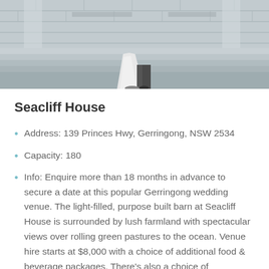[Figure (photo): A couple at a wedding venue, standing in front of stone steps and pillars, partial view of lower body and dress]
Seacliff House
Address: 139 Princes Hwy, Gerringong, NSW 2534
Capacity: 180
Info: Enquire more than 18 months in advance to secure a date at this popular Gerringong wedding venue. The light-filled, purpose built barn at Seacliff House is surrounded by lush farmland with spectacular views over rolling green pastures to the ocean. Venue hire starts at $8,000 with a choice of additional food & beverage packages. There's also a choice of accommodation on the property including